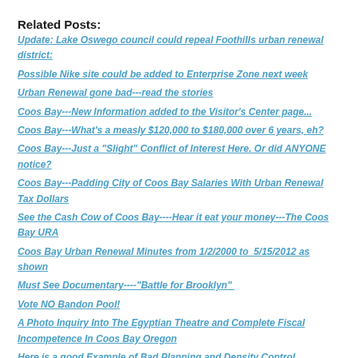Related Posts:
Update: Lake Oswego council could repeal Foothills urban renewal district:
Possible Nike site could be added to Enterprise Zone next week
Urban Renewal gone bad---read the stories
Coos Bay---New Information added to the Visitor's Center page...
Coos Bay---What's a measly $120,000 to $180,000 over 6 years, eh?
Coos Bay---Just a "Slight" Conflict of Interest Here. Or did ANYONE notice?
Coos Bay---Padding City of Coos Bay Salaries With Urban Renewal Tax Dollars
See the Cash Cow of Coos Bay----Hear it eat your money---The Coos Bay URA
Coos Bay Urban Renewal Minutes from 1/2/2000 to  5/15/2012 as shown
Must See Documentary----"Battle for Brooklyn"
Vote NO Bandon Pool!
A Photo Inquiry Into The Egyptian Theatre and Complete Fiscal Incompetence In Coos Bay Oregon
Here is a good Example of Bad Planning and Density Control....
Email Alert from a Watchdog in Myrtle Point
MGX---ORC, does it still get its enterprise zone exemptions???